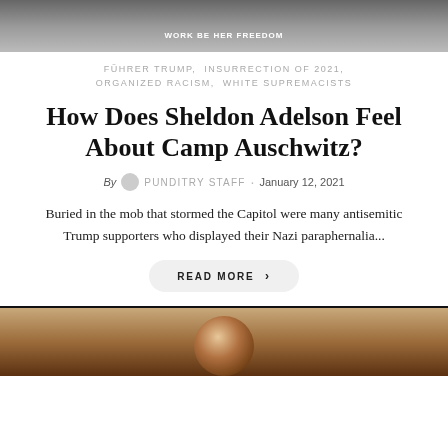[Figure (photo): Top of page cropped black and white photo showing person wearing a shirt with text 'WORK BE HER FREEDOM']
FÜHRER TRUMP,  INSURRECTION OF 2021,  ORGANIZED RACISM,  WHITE SUPREMACISTS
How Does Sheldon Adelson Feel About Camp Auschwitz?
By PUNDITRY STAFF · January 12, 2021
Buried in the mob that stormed the Capitol were many antisemitic Trump supporters who displayed their Nazi paraphernalia...
READ MORE  >
[Figure (photo): Bottom of page partial photo showing person with curly dark hair, warm toned background]